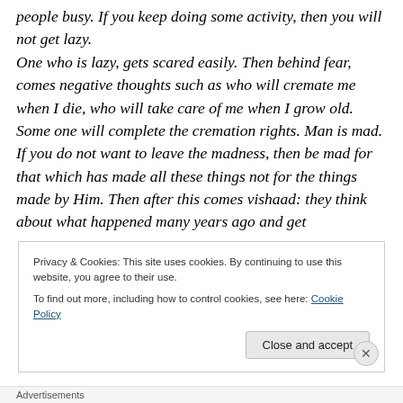people busy. If you keep doing some activity, then you will not get lazy. One who is lazy, gets scared easily. Then behind fear, comes negative thoughts such as who will cremate me when I die, who will take care of me when I grow old. Some one will complete the cremation rights. Man is mad. If you do not want to leave the madness, then be mad for that which has made all these things not for the things made by Him. Then after this comes vishaad: they think about what happened many years ago and get
Privacy & Cookies: This site uses cookies. By continuing to use this website, you agree to their use.
To find out more, including how to control cookies, see here: Cookie Policy
Close and accept
Advertisements